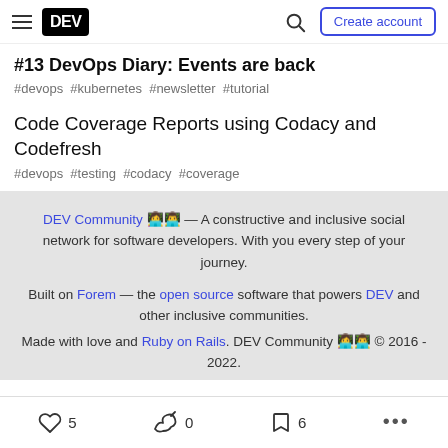DEV — Create account
#13 DevOps Diary: Events are back
#devops #kubernetes #newsletter #tutorial
Code Coverage Reports using Codacy and Codefresh
#devops #testing #codacy #coverage
DEV Community 👩‍💻👨‍💻 — A constructive and inclusive social network for software developers. With you every step of your journey.
Built on Forem — the open source software that powers DEV and other inclusive communities. Made with love and Ruby on Rails. DEV Community 👩‍💻👨‍💻 © 2016 - 2022.
5  0  6  ...